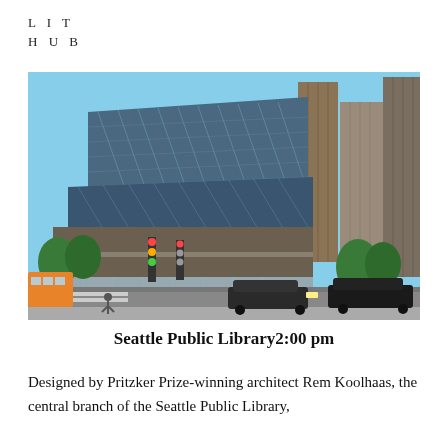LIT
HUB
[Figure (photo): Exterior photograph of the Seattle Public Library central branch building, designed by Rem Koolhaas. The building features a distinctive glass and steel lattice facade with angular, stacked geometric forms. Surrounding skyscrapers visible on the right. Street level shows traffic lights, trees, vehicles, and pedestrians.]
Seattle Public Library2:00 pm
Designed by Pritzker Prize-winning architect Rem Koolhaas, the central branch of the Seattle Public Library, once it will visit both the local and